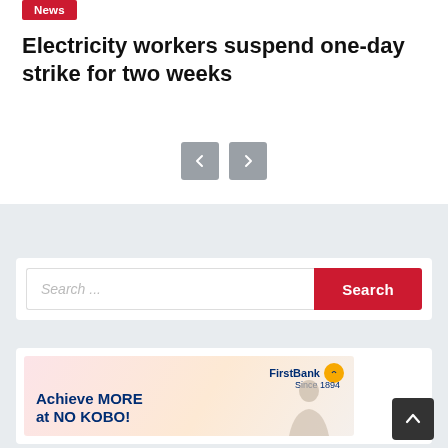News
Electricity workers suspend one-day strike for two weeks
[Figure (screenshot): Navigation previous and next arrow buttons (gray rounded squares)]
[Figure (screenshot): Search bar with placeholder 'Search ...' and red 'Search' button]
[Figure (screenshot): FirstBank advertisement: 'Achieve MORE at NO KOBO!' with FirstBank logo and person illustration]
[Figure (screenshot): Scroll to top button (dark square with upward arrow)]